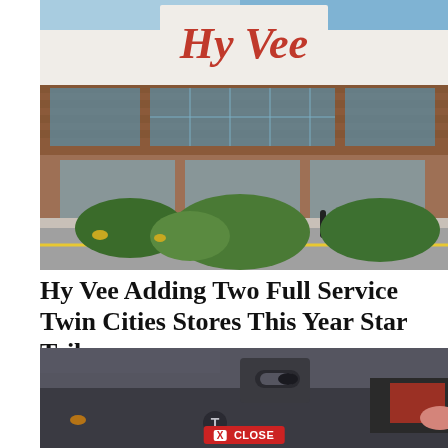[Figure (photo): Exterior photograph of a Hy-Vee grocery store building with brick facade, large glass windows, and the Hy-Vee logo in red script lettering on the upper white portion of the building. Parking lot and trees visible in the foreground.]
Hy Vee Adding Two Full Service Twin Cities Stores This Year Star Tribune
[Figure (photo): Close-up photograph of a car door handle area, showing what appears to be a Tesla vehicle with the Tesla logo visible. A 'CLOSE' button overlay with an X is shown at the bottom of the image.]